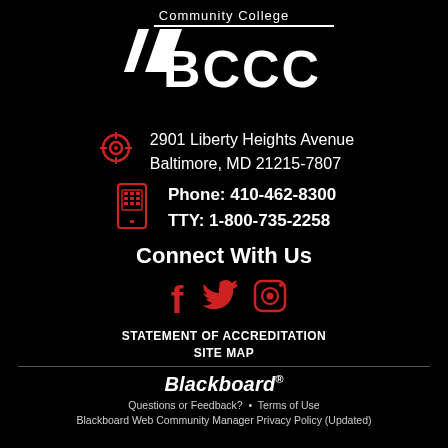[Figure (logo): Baltimore City Community College BCCC logo in white on black background]
2901 Liberty Heights Avenue
Baltimore, MD 21215-7807
Phone: 410-462-8300
TTY: 1-800-735-2258
Connect With Us
[Figure (illustration): Social media icons: Facebook, Twitter, Instagram in red/white]
STATEMENT OF ACCREDITATION
SITE MAP
Blackboard®
Questions or Feedback? • Terms of Use
Blackboard Web Community Manager Privacy Policy (Updated)